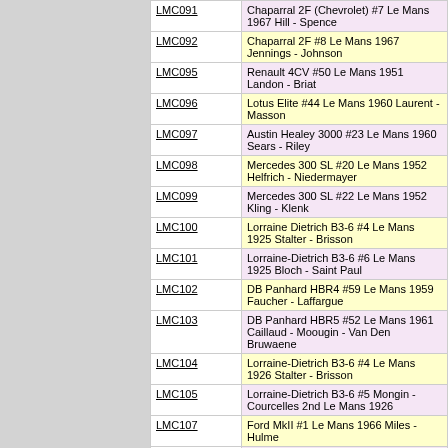| Code | Description |
| --- | --- |
| LMC091 | Chaparral 2F (Chevrolet) #7 Le Mans 1967 Hill - Spence |
| LMC092 | Chaparral 2F #8 Le Mans 1967 Jennings - Johnson |
| LMC095 | Renault 4CV #50 Le Mans 1951 Landon - Briat |
| LMC096 | Lotus Elite #44 Le Mans 1960 Laurent - Masson |
| LMC097 | Austin Healey 3000 #23 Le Mans 1960 Sears - Riley |
| LMC098 | Mercedes 300 SL #20 Le Mans 1952 Helfrich - Niedermayer |
| LMC099 | Mercedes 300 SL #22 Le Mans 1952 Kling - Klenk |
| LMC100 | Lorraine Dietrich B3-6 #4 Le Mans 1925 Stalter - Brisson |
| LMC101 | Lorraine-Dietrich B3-6 #6 Le Mans 1925 Bloch - Saint Paul |
| LMC102 | DB Panhard HBR4 #59 Le Mans 1959 Faucher - Laffargue |
| LMC103 | DB Panhard HBR5 #52 Le Mans 1961 Caillaud - Moougin - Van Den Bruwaene |
| LMC104 | Lorraine-Dietrich B3-6 #4 Le Mans 1926 Stalter - Brisson |
| LMC105 | Lorraine-Dietrich B3-6 #5 Mongin - Courcelles 2nd Le Mans 1926 |
| LMC107 | Ford MkII #1 Le Mans 1966 Miles - Hulme |
| LMC108 | Ford MKII #3 D.Gurney-J.Grant LM 1966 |
| LMC109 | Ford MKII #4 M.Donohue-P.Hawkinks Le Mans 1966 |
| LMC110 | Ford MkII #5 Le Mans 1966 Bucknum - Hutcherson |
| LMC111 | Ford MKII #6 Le Mans 1966 Bianchi - Andretti |
| LMC113 | Ford MkII #8 Le Mans 1966 Whitemore - Gardner |
| LMC114 | Matra MS 670B #12 Le Mans 973 Jabouille - |